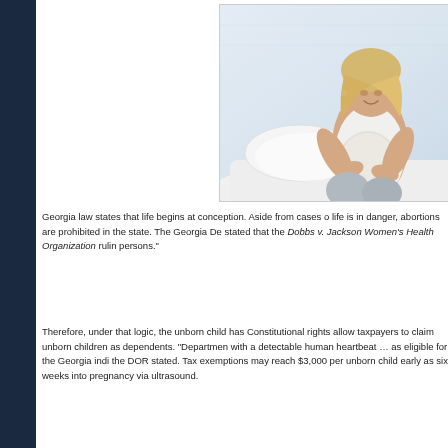[Figure (photo): A pregnant woman sitting on a bed, cradling her belly, wearing a white tank top and grey leggings, with white pillows and bedding in the background.]
Georgia law states that life begins at conception. Aside from cases of life is in danger, abortions are prohibited in the state. The Georgia De stated that the Dobbs v. Jackson Women's Health Organization ruling persons."
Therefore, under that logic, the unborn child has Constitutional rights allow taxpayers to claim unborn children as dependents. "Departmen with a detectable human heartbeat … as eligible for the Georgia indi the DOR stated. Tax exemptions may reach $3,000 per unborn child early as six weeks into pregnancy via ultrasound.